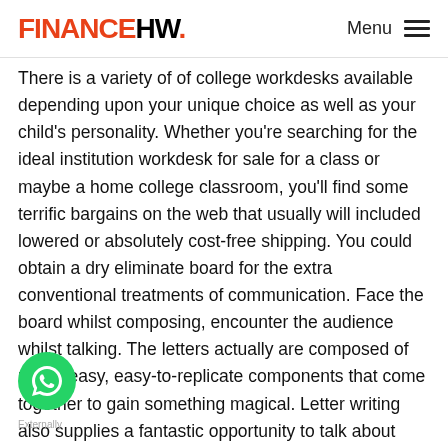FINANCEHW. Menu
There is a variety of of college workdesks available depending upon your unique choice as well as your child's personality. Whether you're searching for the ideal institution workdesk for sale for a class or maybe a home college classroom, you'll find some terrific bargains on the web that usually will included lowered or absolutely cost-free shipping. You could obtain a dry eliminate board for the extra conventional treatments of communication. Face the board whilst composing, encounter the audience whilst talking. The letters actually are composed of rather easy, easy-to-replicate components that come together to gain something magical. Letter writing also supplies a fantastic opportunity to talk about composing for a target market through your daughter or son. You can likewise be influenced by your favorite Christian writers as well as produce your extremely own 3-Point Sermon for Youngsters.